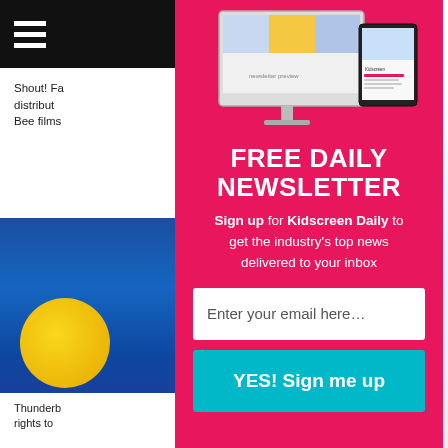[Figure (screenshot): Website screenshot showing navigation bar with hamburger menu icon on dark background, partially visible article text about Shout! Factory distribution and Bee films, and a blue background with animated bee character. Right side shows partial colorful image.]
FREE DAILY NEWSLETTER
Sign up for Kidscreen Daily to get the industry's top news delivered to your inbox
Enter your email here...
YES! Sign me up